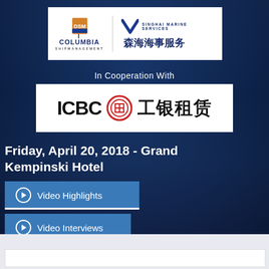[Figure (logo): Columbia Shipmanagement and Singhai Marine Services logos side by side in white box]
In Cooperation With
[Figure (logo): ICBC 工银租赁 logo in white box]
Friday, April 20, 2018 - Grand Kempinski Hotel
Video Highlights
Video Interviews